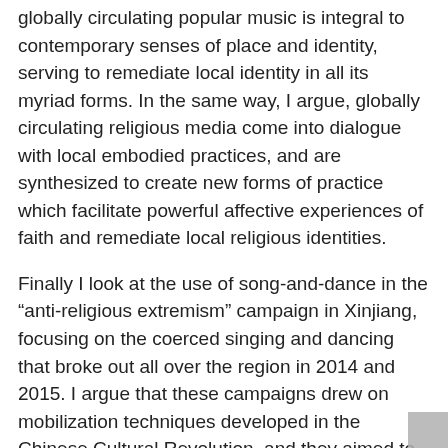globally circulating popular music is integral to contemporary senses of place and identity, serving to remediate local identity in all its myriad forms. In the same way, I argue, globally circulating religious media come into dialogue with local embodied practices, and are synthesized to create new forms of practice which facilitate powerful affective experiences of faith and remediate local religious identities.
Finally I look at the use of song-and-dance in the “anti-religious extremism” campaign in Xinjiang, focusing on the coerced singing and dancing that broke out all over the region in 2014 and 2015. I argue that these campaigns drew on mobilization techniques developed in the Chinese Cultural Revolution, and they aimed to change norms of bodily behaviour, disciplining and transforming Muslim bodies. From 2017, these techniques have been taken to new extremes with the use of daily singing revolutionary songs in the internment camps. When situated alongside the brutality of the camps this is clearly music being used as a form of torture, and I draw parallels with the use of